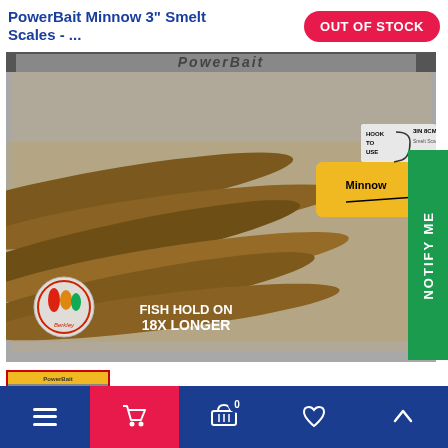PowerBait Minnow 3" Smelt Scales - ...
OUT OF STOCK
[Figure (photo): Package of PowerBait Minnow 3" Smelt Scales fishing lures, showing multiple brown/gold glitter minnow-shaped soft baits. Package label shows 'Minnow', 'HOOK TO USE', '3IN 8CM', and 'FISH HOLD ON 18X LONGER' with Berkley logo.]
NOTIFY ME
[Figure (photo): Small thumbnail image of the PowerBait Minnow Smelt Scales product package.]
Navigation bar with menu, cart, basket (0), heart, and up arrow icons.